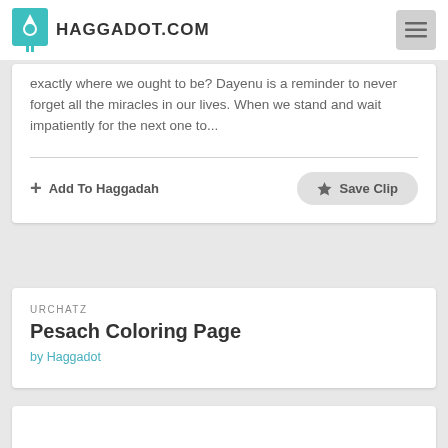HAGGADOT.COM
exactly where we ought to be? Dayenu is a reminder to never forget all the miracles in our lives. When we stand and wait impatiently for the next one to...
+ Add To Haggadah
★ Save Clip
URCHATZ
Pesach Coloring Page
by Haggadot
[Figure (illustration): Partial view of a Pesach coloring page showing the top of an outline illustration]